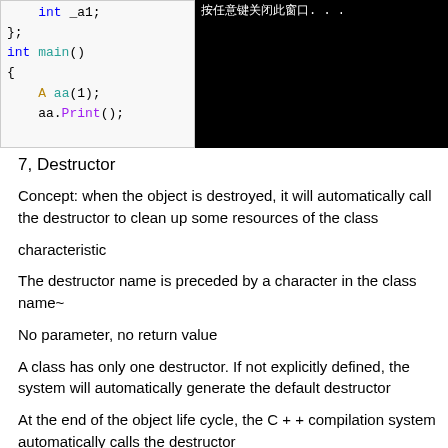[Figure (screenshot): Split screenshot: left panel shows C++ code with 'int _a1;', '};', 'int main()', '{', '    A aa(1);', '    aa.Print();' in blue/teal syntax highlighting on light background. Right panel shows black console with Chinese text '按任意键关闭此窗口. . .']
7, Destructor
Concept: when the object is destroyed, it will automatically call the destructor to clean up some resources of the class
characteristic
The destructor name is preceded by a character in the class name~
No parameter, no return value
A class has only one destructor. If not explicitly defined, the system will automatically generate the default destructor
At the end of the object life cycle, the C + + compilation system automatically calls the destructor